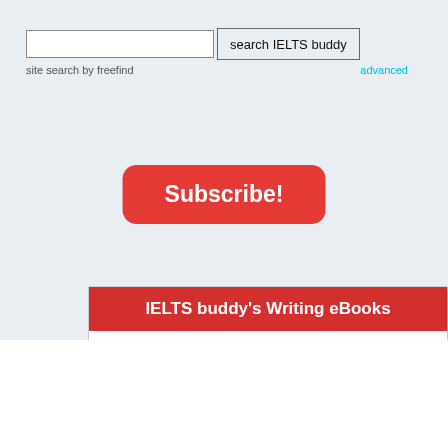[Figure (screenshot): Search bar with input field and 'search IELTS buddy' button, with 'site search by freefind' label and 'advanced' link]
[Figure (other): Red rounded Subscribe! button]
IELTS buddy's Writing eBooks
I think these eBooks are FANTASTIC!!! I know that's not academic language,